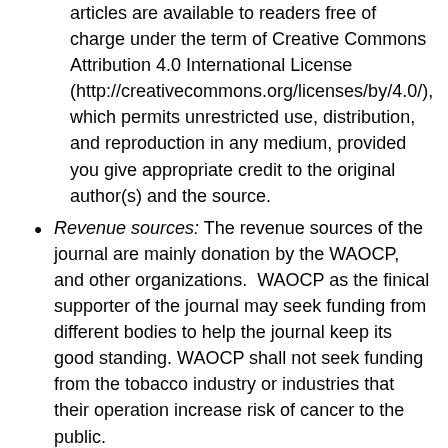articles are available to readers free of charge under the term of Creative Commons Attribution 4.0 International License (http://creativecommons.org/licenses/by/4.0/), which permits unrestricted use, distribution, and reproduction in any medium, provided you give appropriate credit to the original author(s) and the source.
Revenue sources: The revenue sources of the journal are mainly donation by the WAOCP, and other organizations. WAOCP as the finical supporter of the journal may seek funding from different bodies to help the journal keep its good standing. WAOCP shall not seek funding from the tobacco industry or industries that their operation increase risk of cancer to the public.
Advertising: APJCB does not advertise and all logo and names on the journal website are for informing our clients and they shall not be